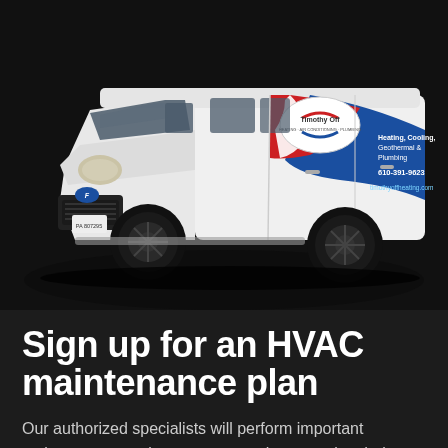[Figure (photo): White Ford Transit van with Timothy Off Heating, Cooling, Geothermal & Plumbing company branding. The van has a red and blue swoosh design on the side panel with the company logo, phone number 610-391-9623, and website timothyoffheating.com. PA 807395 license plate visible on the front. Van is photographed against a dark background.]
Sign up for an HVAC maintenance plan
Our authorized specialists will perform important maintenance services on your equipment twice during